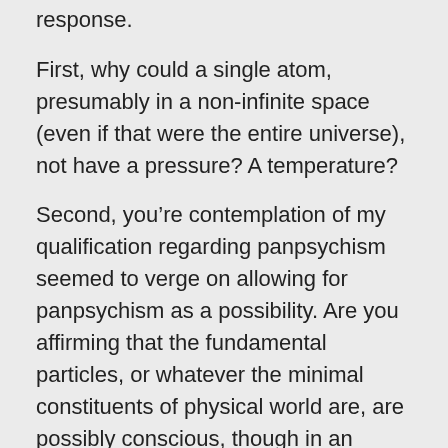response.
First, why could a single atom, presumably in a non-infinite space (even if that were the entire universe), not have a pressure? A temperature?
Second, you’re contemplation of my qualification regarding panpsychism seemed to verge on allowing for panpsychism as a possibility. Are you affirming that the fundamental particles, or whatever the minimal constituents of physical world are, are possibly conscious, though in an inchoate and rudimentary way?
Lastly, I’m going to have to reflect more on